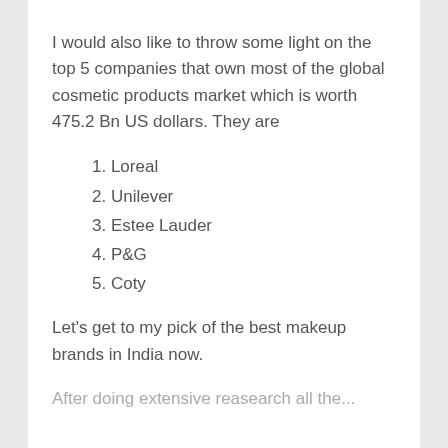I would also like to throw some light on the top 5 companies that own most of the global cosmetic products market which is worth 475.2 Bn US dollars. They are
1. Loreal
2. Unilever
3. Estee Lauder
4. P&G
5. Coty
Let's get to my pick of the best makeup brands in India now.
After doing extensive reasearch all the...